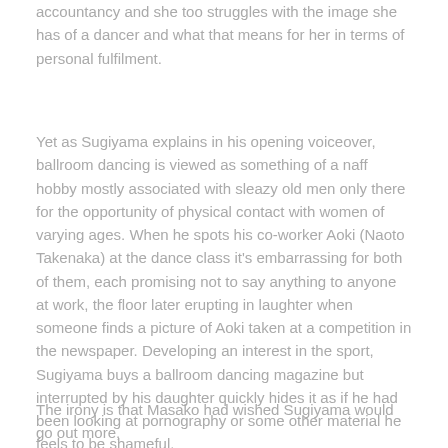accountancy and she too struggles with the image she has of a dancer and what that means for her in terms of personal fulfilment.
Yet as Sugiyama explains in his opening voiceover, ballroom dancing is viewed as something of a naff hobby mostly associated with sleazy old men only there for the opportunity of physical contact with women of varying ages. When he spots his co-worker Aoki (Naoto Takenaka) at the dance class it's embarrassing for both of them, each promising not to say anything to anyone at work, the floor later erupting in laughter when someone finds a picture of Aoki taken at a competition in the newspaper. Developing an interest in the sport, Sugiyama buys a ballroom dancing magazine but interrupted by his daughter quickly hides it as if he had been looking at pornography or some other material he feels to be shameful.
The irony is that Masako had wished Sugiyama would go out more, believing that she had herself dedicated himself to the...